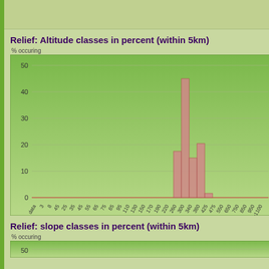Relief: Altitude classes in percent (within 5km)
[Figure (histogram): Relief: Altitude classes in percent (within 5km)]
Relief: slope classes in percent (within 5km)
% occuring